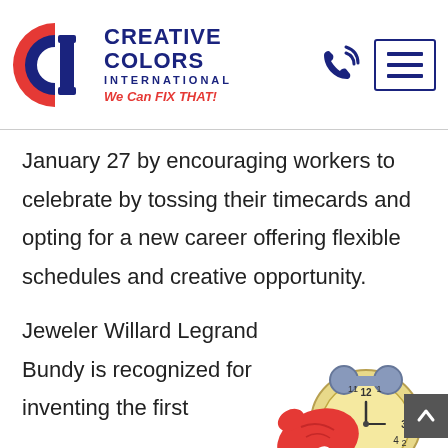[Figure (logo): Creative Colors International logo with CCI emblem, company name, and tagline 'We Can FIX THAT!']
January 27 by encouraging workers to celebrate by tossing their timecards and opting for a new career offering flexible schedules and creative opportunity.
Jeweler Willard Legrand Bundy is recognized for inventing the first
[Figure (illustration): Cartoon illustration of a red boxing glove punching an alarm clock]